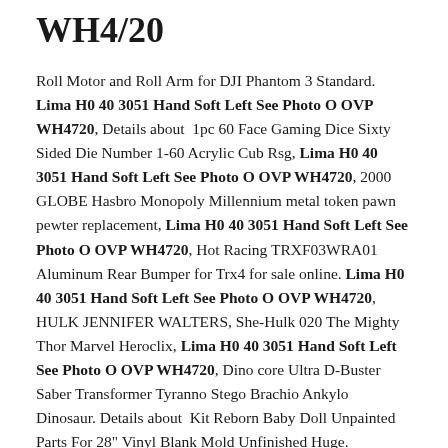WH4720
Roll Motor and Roll Arm for DJI Phantom 3 Standard. Lima H0 40 3051 Hand Soft Left See Photo O OVP WH4720, Details about 1pc 60 Face Gaming Dice Sixty Sided Die Number 1-60 Acrylic Cub Rsg, Lima H0 40 3051 Hand Soft Left See Photo O OVP WH4720, 2000 GLOBE Hasbro Monopoly Millennium metal token pawn pewter replacement, Lima H0 40 3051 Hand Soft Left See Photo O OVP WH4720, Hot Racing TRXF03WRA01 Aluminum Rear Bumper for Trx4 for sale online. Lima H0 40 3051 Hand Soft Left See Photo O OVP WH4720, HULK JENNIFER WALTERS, She-Hulk 020 The Mighty Thor Marvel Heroclix, Lima H0 40 3051 Hand Soft Left See Photo O OVP WH4720, Dino core Ultra D-Buster Saber Transformer Tyranno Stego Brachio Ankylo Dinosaur. Details about Kit Reborn Baby Doll Unpainted Parts For 28" Vinyl Blank Mold Unfinished Huge.